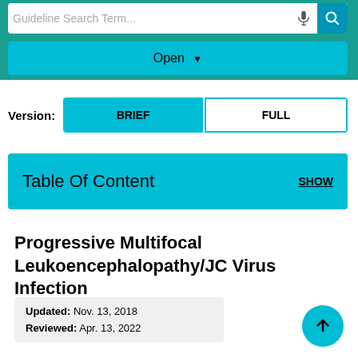Guideline Search Term...
Open ▼
Version: BRIEF | FULL
Table Of Content  SHOW
Progressive Multifocal Leukoencephalopathy/JC Virus Infection
Updated: Nov. 13, 2018
Reviewed: Apr. 13, 2022